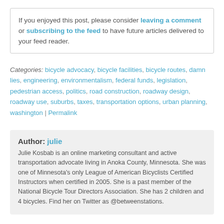If you enjoyed this post, please consider leaving a comment or subscribing to the feed to have future articles delivered to your feed reader.
Categories: bicycle advocacy, bicycle facilities, bicycle routes, damn lies, engineering, environmentalism, federal funds, legislation, pedestrian access, politics, road construction, roadway design, roadway use, suburbs, taxes, transportation options, urban planning, washington | Permalink
Author: julie
Julie Kosbab is an online marketing consultant and active transportation advocate living in Anoka County, Minnesota. She was one of Minnesota's only League of American Bicyclists Certified Instructors when certified in 2005. She is a past member of the National Bicycle Tour Directors Association. She has 2 children and 4 bicycles. Find her on Twitter as @betweenstations.